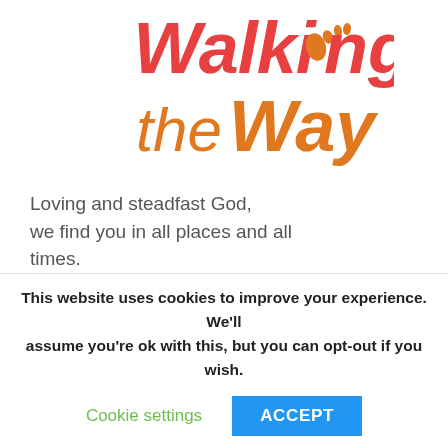[Figure (logo): Walking the Way logo with footprint icon — 'Walking' in red/coral script, 'the Way' in orange bold text]
Loving and steadfast God,
we find you in all places and all times.
Help us to be open to the thoughts and ideas and experiences
that we will meet today,
those in our comfort zone
This website uses cookies to improve your experience. We'll assume you're ok with this, but you can opt-out if you wish.
Cookie settings   ACCEPT